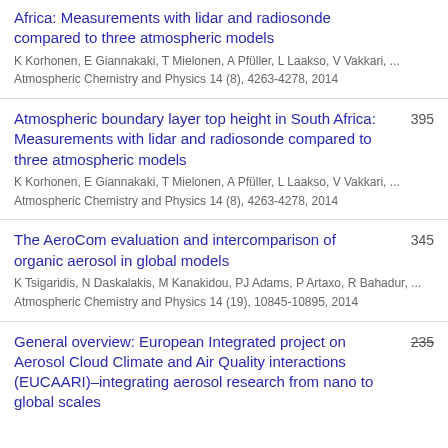Africa: Measurements with lidar and radiosonde compared to three atmospheric models
K Korhonen, E Giannakaki, T Mielonen, A Pfüller, L Laakso, V Vakkari, ...
Atmospheric Chemistry and Physics 14 (8), 4263-4278, 2014
Atmospheric boundary layer top height in South Africa: Measurements with lidar and radiosonde compared to three atmospheric models [395]
K Korhonen, E Giannakaki, T Mielonen, A Pfüller, L Laakso, V Vakkari, ...
Atmospheric Chemistry and Physics 14 (8), 4263-4278, 2014
The AeroCom evaluation and intercomparison of organic aerosol in global models [345]
K Tsigaridis, N Daskalakis, M Kanakidou, PJ Adams, P Artaxo, R Bahadur, ...
Atmospheric Chemistry and Physics 14 (19), 10845-10895, 2014
General overview: European Integrated project on Aerosol Cloud Climate and Air Quality interactions (EUCAARI)–integrating aerosol research from nano to global scales [235 strikethrough]